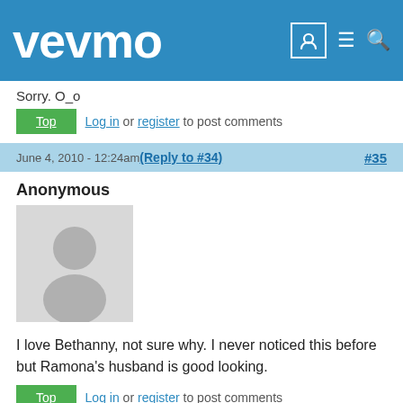vevmo
Sorry. O_o
Top  Log in or register to post comments
June 4, 2010 - 12:24am (Reply to #34) #35
Anonymous
[Figure (illustration): Generic anonymous user avatar placeholder (gray silhouette on light gray background)]
I love Bethanny, not sure why. I never noticed this before but Ramona's husband is good looking.
Top  Log in or register to post comments
June 4, 2010 - 2:24am (Reply to #35) #36